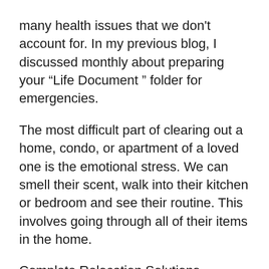many health issues that we don't account for. In my previous blog, I discussed monthly about preparing your “Life Document ” folder for emergencies.
The most difficult part of clearing out a home, condo, or apartment of a loved one is the emotional stress. We can smell their scent, walk into their kitchen or bedroom and see their routine. This involves going through all of their items in the home.
Complete Relocation Solutions concierge service takes that emotional stress off the family’s shoulders, whether you are local or out of state. We ask the family to go through the home and take or tag what they want, including as the then a selection that a second lift